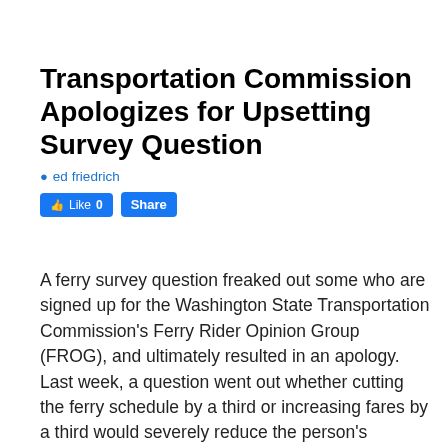Transportation Commission Apologizes for Upsetting Survey Question
ed friedrich
[Figure (other): Facebook Like and Share buttons]
A ferry survey question freaked out some who are signed up for the Washington State Transportation Commission's Ferry Rider Opinion Group (FROG), and ultimately resulted in an apology.
Last week, a question went out whether cutting the ferry schedule by a third or increasing fares by a third would severely reduce the person's ridership.
“This is akin to asking if you’d rather be run over by a